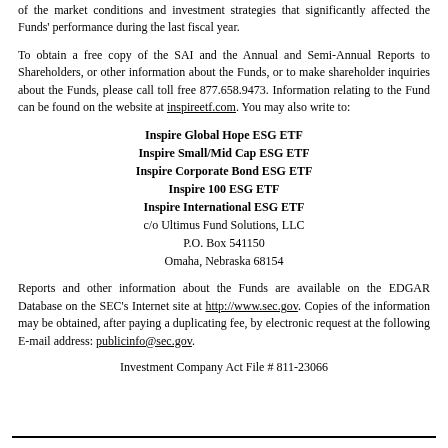of the market conditions and investment strategies that significantly affected the Funds' performance during the last fiscal year.
To obtain a free copy of the SAI and the Annual and Semi-Annual Reports to Shareholders, or other information about the Funds, or to make shareholder inquiries about the Funds, please call toll free 877.658.9473. Information relating to the Fund can be found on the website at inspireetf.com. You may also write to:
Inspire Global Hope ESG ETF
Inspire Small/Mid Cap ESG ETF
Inspire Corporate Bond ESG ETF
Inspire 100 ESG ETF
Inspire International ESG ETF
c/o Ultimus Fund Solutions, LLC
P.O. Box 541150
Omaha, Nebraska 68154
Reports and other information about the Funds are available on the EDGAR Database on the SEC's Internet site at http://www.sec.gov. Copies of the information may be obtained, after paying a duplicating fee, by electronic request at the following E-mail address: publicinfo@sec.gov.
Investment Company Act File # 811-23066